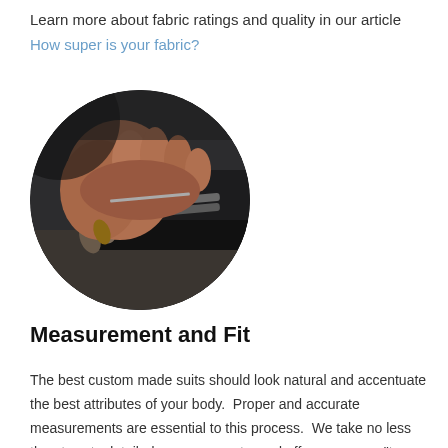Learn more about fabric ratings and quality in our article How super is your fabric?
[Figure (photo): Close-up circular photo of hands cutting dark fabric with scissors, tailoring scene.]
Measurement and Fit
The best custom made suits should look natural and accentuate the best attributes of your body.  Proper and accurate measurements are essential to this process.  We take no less than twenty detailed measurements, and offer numerous "try-ons" to accurately gauge the fit, cut, shoulder